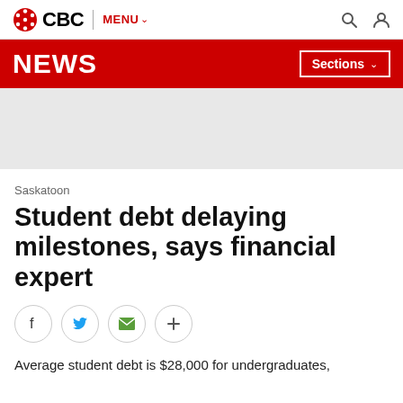CBC | MENU
NEWS | Sections
[Figure (other): Grey advertisement placeholder area]
Saskatoon
Student debt delaying milestones, says financial expert
[Figure (infographic): Social share buttons: Facebook, Twitter, Email, More (+)]
Average student debt is $28,000 for undergraduates,